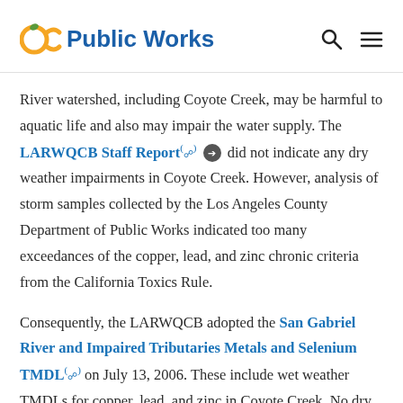OC Public Works
River watershed, including Coyote Creek, may be harmful to aquatic life and also may impair the water supply. The LARWQCB Staff Report did not indicate any dry weather impairments in Coyote Creek. However, analysis of storm samples collected by the Los Angeles County Department of Public Works indicated too many exceedances of the copper, lead, and zinc chronic criteria from the California Toxics Rule.
Consequently, the LARWQCB adopted the San Gabriel River and Impaired Tributaries Metals and Selenium TMDL on July 13, 2006. These include wet weather TMDLs for copper, lead, and zinc in Coyote Creek. No dry